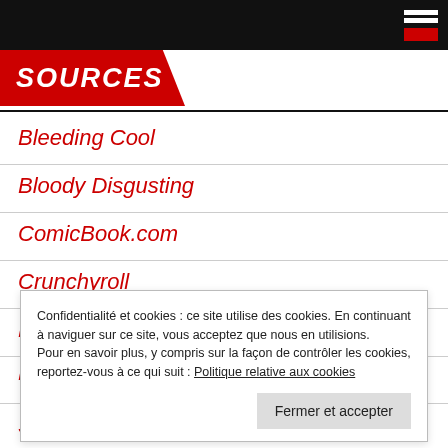SOURCES
Bleeding Cool
Bloody Disgusting
ComicBook.com
Crunchyroll
Daily Mail
Dark Horizons
Confidentialité et cookies : ce site utilise des cookies. En continuant à naviguer sur ce site, vous acceptez que nous en utilisions. Pour en savoir plus, y compris sur la façon de contrôler les cookies, reportez-vous à ce qui suit : Politique relative aux cookies
Fermer et accepter
Slashfilm.com